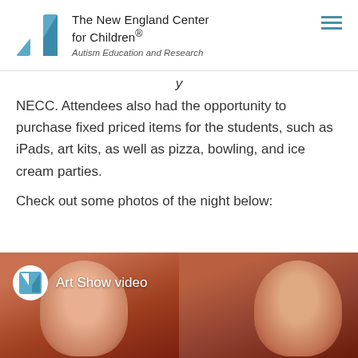[Figure (logo): The New England Center for Children logo with blue stylized 'n' shape, organization name and tagline 'Autism Education and Research']
NECC. Attendees also had the opportunity to purchase fixed priced items for the students, such as iPads, art kits, as well as pizza, bowling, and ice cream parties.
Check out some photos of the night below:
[Figure (photo): Video thumbnail showing two smiling women with blonde hair in a warm-lit setting, with 'Art Show video' overlay badge featuring NECC logo]